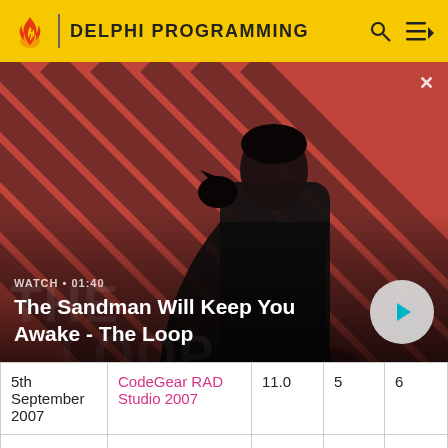DELPHI PROGRAMMING
[Figure (photo): Hero image featuring a dark-clothed figure with a raven on his shoulder against a red and dark diagonal striped background. Overlaid text: WATCH • 01:40 and title 'The Sandman Will Keep You Awake - The Loop'. A play button (circle with triangle) is in the bottom right.]
WATCH • 01:40
The Sandman Will Keep You Awake - The Loop
| 5th September 2007 | CodeGear RAD Studio 2007 | 11.0 | 5 | 6 |
| 16th March 2007 | CodeGear Delphi 2007 | 11.0 | 5 | 16 |